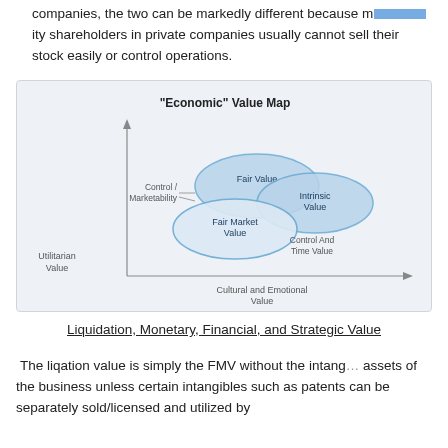companies, the two can be markedly different because minority shareholders in private companies usually cannot sell their stock easily or control operations.
[Figure (infographic): Economic Value Map diagram showing overlapping ellipses labeled Fair Value, Intrinsic Value, and Fair Market Value, with arrows indicating axes: y-axis labeled Utilitarian Value (with Control/Marketability noted), x-axis labeled Cultural and Emotional Value (with Control And Time Value noted). Title: "Economic" Value Map.]
Liquidation, Monetary, Financial, and Strategic Value
The liqation value is simply the FMV without the intangible assets of the business unless certain intangibles such as patents can be separately sold/licensed and utilized by